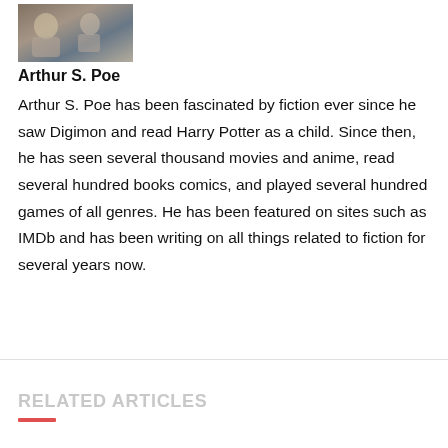[Figure (photo): Small author photo thumbnail of Arthur S. Poe]
Arthur S. Poe
Arthur S. Poe has been fascinated by fiction ever since he saw Digimon and read Harry Potter as a child. Since then, he has seen several thousand movies and anime, read several hundred books comics, and played several hundred games of all genres. He has been featured on sites such as IMDb and has been writing on all things related to fiction for several years now.
RELATED ARTICLES